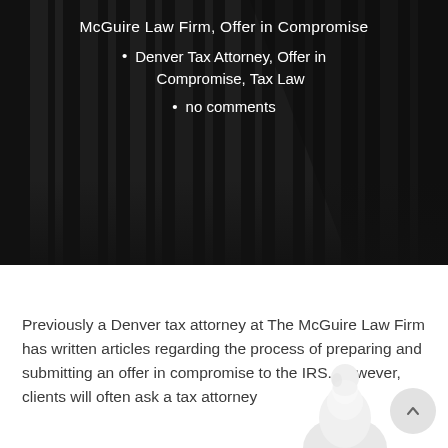McGuire Law Firm, Offer in Compromise
Denver Tax Attorney, Offer in Compromise, Tax Law
no comments
[Figure (photo): Dark background photo of courthouse or law building columns in monochrome]
Previously a Denver tax attorney at The McGuire Law Firm has written articles regarding the process of preparing and submitting an offer in compromise to the IRS.  However, clients will often ask a tax attorney
[Figure (photo): Partial image of a white figure or sculpture at bottom right of page]